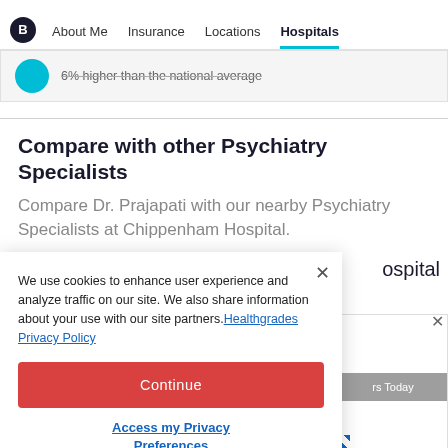About Me | Insurance | Locations | Hospitals
6% higher than the national average
Compare with other Psychiatry Specialists
Compare Dr. Prajapati with our nearby Psychiatry Specialists at Chippenham Hospital.
We use cookies to enhance user experience and analyze traffic on our site. We also share information about your use with our site partners. Healthgrades Privacy Policy
Continue
Access my Privacy Preferences